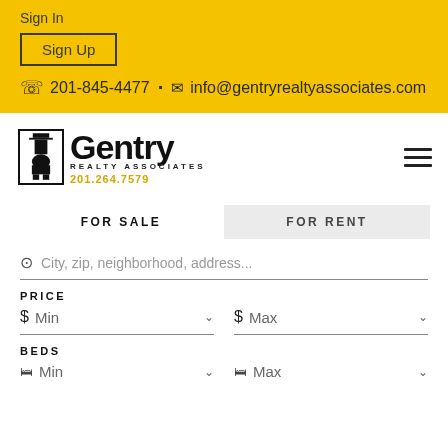Sign In
Sign Up
201-845-4477 • info@gentryrealtyassociates.com
[Figure (logo): Gentry Realty Associates logo with man in top hat figure, bold text 'Gentry', 'REALTY ASSOCIATES', and phone number 201.264.7579 in gold]
FOR SALE
FOR RENT
City, zip, neighborhood, address...
PRICE
$ Min
$ Max
BEDS
Min
Max